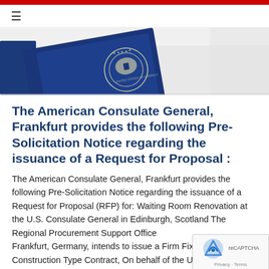☰
[Figure (photo): Blue U.S. passport and official U.S. government seal on a white surface, with blue decorative elements on the left side.]
The American Consulate General, Frankfurt provides the following Pre-Solicitation Notice regarding the issuance of a Request for Proposal :
The American Consulate General, Frankfurt provides the following Pre-Solicitation Notice regarding the issuance of a Request for Proposal (RFP) for: Waiting Room Renovation at the U.S. Consulate General in Edinburgh, Scotland The Regional Procurement Support Office Frankfurt, Germany, intends to issue a Firm Fixed-Pr... Construction Type Contract, On behalf of the U.S. Em...